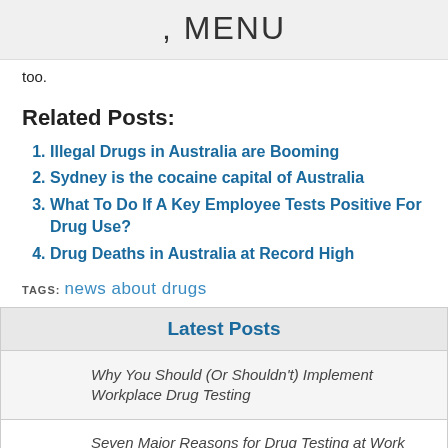, MENU
too.
Related Posts:
Illegal Drugs in Australia are Booming
Sydney is the cocaine capital of Australia
What To Do If A Key Employee Tests Positive For Drug Use?
Drug Deaths in Australia at Record High
TAGS: news about drugs
Latest Posts
Why You Should (Or Shouldn't) Implement Workplace Drug Testing
Seven Major Reasons for Drug Testing at Work